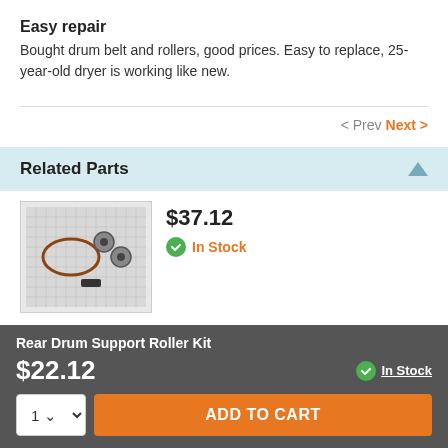Easy repair
Bought drum belt and rollers, good prices. Easy to replace, 25-year-old dryer is working like new.
< Prev  Next >
Related Parts
[Figure (photo): Photo of drum belt and rollers parts kit on grid paper background]
$37.12
In Stock
Rear Drum Support Roller Kit
$22.12
In Stock